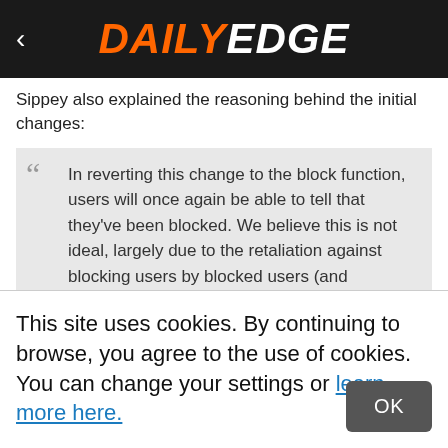DAILY EDGE
Sippey also explained the reasoning behind the initial changes:
In reverting this change to the block function, users will once again be able to tell that they've been blocked. We believe this is not ideal, largely due to the retaliation against blocking users by blocked users (and sometimes their friends) that often occurs. Some users worry
This site uses cookies. By continuing to browse, you agree to the use of cookies. You can change your settings or learn more here.